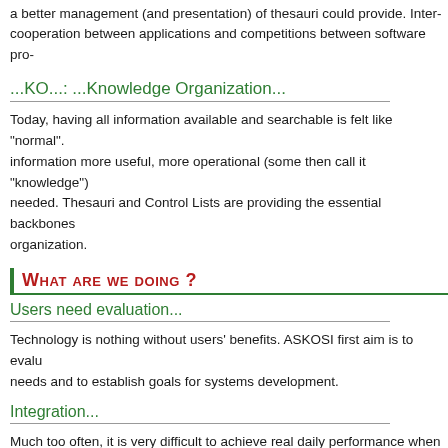a better management (and presentation) of thesauri could provide. Inter-cooperation between applications and competitions between software pro-
...KO...: ...Knowledge Organization...
Today, having all information available and searchable is felt like "normal". information more useful, more operational (some then call it "knowledge") needed. Thesauri and Control Lists are providing the essential backbones organization.
WHAT ARE WE DOING ?
Users need evaluation...
Technology is nothing without users' benefits. ASKOSI first aim is to evalu needs and to establish goals for systems development.
Integration...
Much too often, it is very difficult to achieve real daily performance when u from different developers. We will try to establish what really works and wh to integrate different SKOS aware software.
A SIMPLE GOAL...